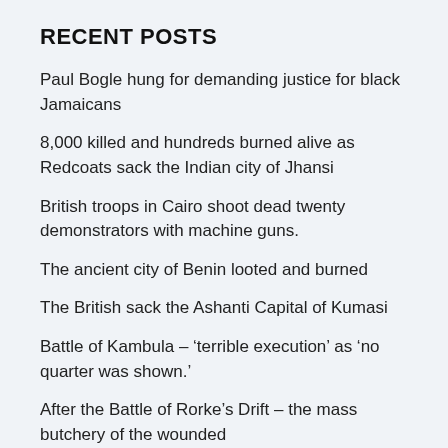RECENT POSTS
Paul Bogle hung for demanding justice for black Jamaicans
8,000 killed and hundreds burned alive as Redcoats sack the Indian city of Jhansi
British troops in Cairo shoot dead twenty demonstrators with machine guns.
The ancient city of Benin looted and burned
The British sack the Ashanti Capital of Kumasi
Battle of Kambula – ‘terrible execution’ as ‘no quarter was shown.’
After the Battle of Rorke’s Drift – the mass butchery of the wounded